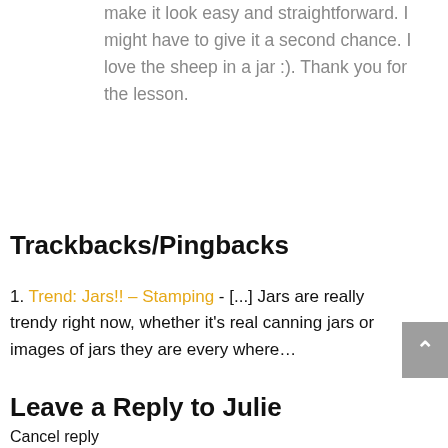make it look easy and straightforward. I might have to give it a second chance. I love the sheep in a jar :). Thank you for the lesson.
Trackbacks/Pingbacks
1. Trend: Jars!! – Stamping - [...] Jars are really trendy right now, whether it's real canning jars or images of jars they are every where…
Leave a Reply to Julie
Cancel reply